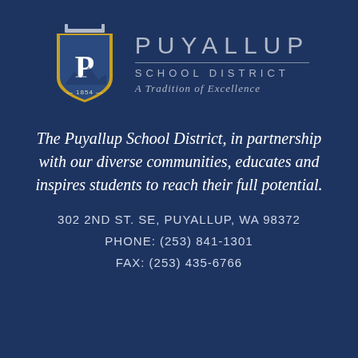[Figure (logo): Puyallup School District shield logo with letter P, mountain silhouette, and year 1854, alongside district name text]
The Puyallup School District, in partnership with our diverse communities, educates and inspires students to reach their full potential.
302 2ND ST. SE, PUYALLUP, WA 98372
PHONE: (253) 841-1301
FAX: (253) 435-6766